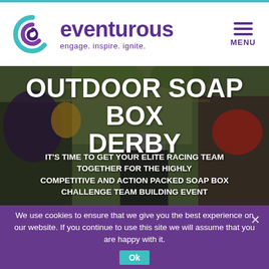[Figure (logo): Eventurous logo with swirl icon and tagline 'engage. inspire. ignite.']
OUTDOOR SOAP BOX DERBY
IT'S TIME TO GET YOUR ELITE RACING TEAM TOGETHER FOR THE HIGHLY COMPETITIVE AND ACTION PACKED SOAP BOX CHALLENGE TEAM BUILDING EVENT
[Figure (photo): People wearing helmets working on a soap box derby car outdoors]
We use cookies to ensure that we give you the best experience on our website. If you continue to use this site we will assume that you are happy with it.